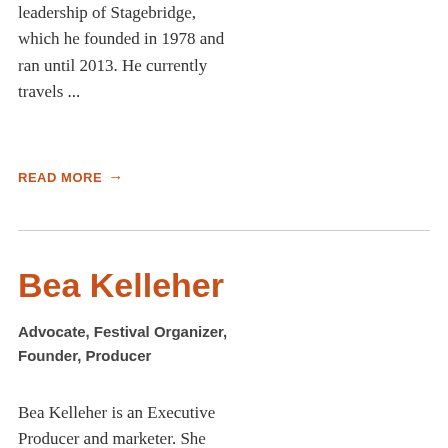leadership of Stagebridge, which he founded in 1978 and ran until 2013. He currently travels ...
READ MORE →
Bea Kelleher
Advocate, Festival Organizer, Founder, Producer
Bea Kelleher is an Executive Producer and marketer. She